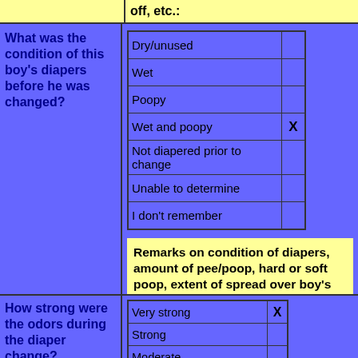off, etc.:
| What was the condition of this boy's diapers before he was changed? | Option | Selected |
| --- | --- | --- |
|  | Dry/unused |  |
|  | Wet |  |
|  | Poopy |  |
|  | Wet and poopy | X |
|  | Not diapered prior to change |  |
|  | Unable to determine |  |
|  | I don't remember |  |
Remarks on condition of diapers, amount of pee/poop, hard or soft poop, extent of spread over boy's body, etc.:
| How strong were the odors during the diaper change? | Option | Selected |
| --- | --- | --- |
|  | Very strong | X |
|  | Strong |  |
|  | Moderate |  |
|  | Mild |  |
|  | Weak |  |
|  | No odor detected |  |
|  | Unable to determine |  |